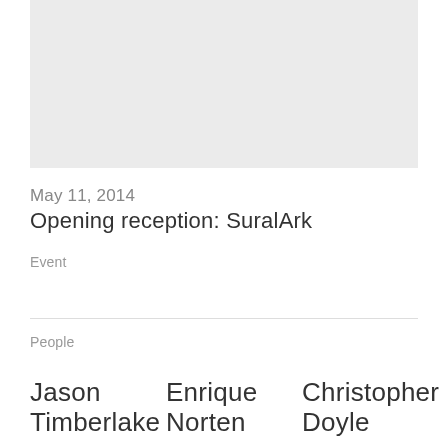[Figure (photo): Gray placeholder image area at the top of the page]
May 11, 2014
Opening reception: SuralArk
Event
People
Jason Timberlake
Enrique Norten
Christopher Doyle